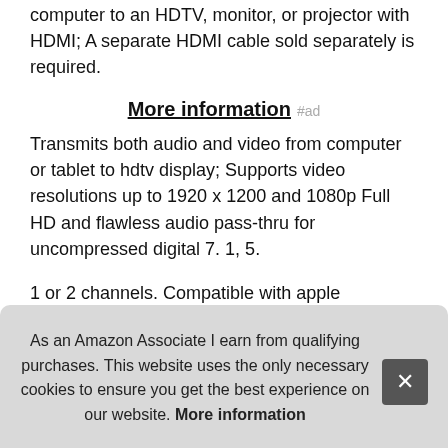computer to an HDTV, monitor, or projector with HDMI; A separate HDMI cable sold separately is required.
More information #ad
Transmits both audio and video from computer or tablet to hdtv display; Supports video resolutions up to 1920 x 1200 and 1080p Full HD and flawless audio pass-thru for uncompressed digital 7. 1, 5.
1 or 2 channels. Compatible with apple macbook, macbook air, macbook pro, mac pro; microsoft surface pro 4, precision m3800; alienware 14/17/18; acer aspire r7/s7/v5/v7; intel nuc; asus zenbook; hp envy 14/17; google chromebook pixel; tosh helix Suf X1 C
As an Amazon Associate I earn from qualifying purchases. This website uses the only necessary cookies to ensure you get the best experience on our website. More information